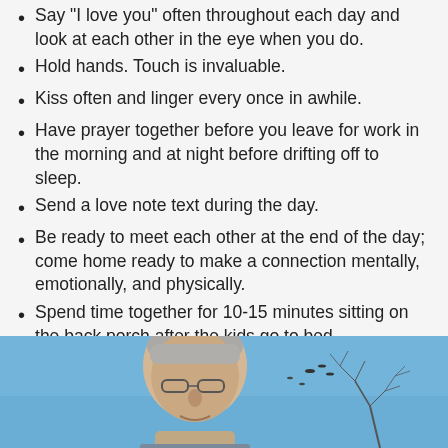Say "I love you" often throughout each day and look at each other in the eye when you do.
Hold hands. Touch is invaluable.
Kiss often and linger every once in awhile.
Have prayer together before you leave for work in the morning and at night before drifting off to sleep.
Send a love note text during the day.
Be ready to meet each other at the end of the day; come home ready to make a connection mentally, emotionally, and physically.
Spend time together for 10-15 minutes sitting on the back porch after the kids go to bed.
Talk to each other; have much more than an adult/child conversation.
[Figure (photo): An elderly man with grey hair and glasses photographed against a blue sky with bare tree branches in the background.]